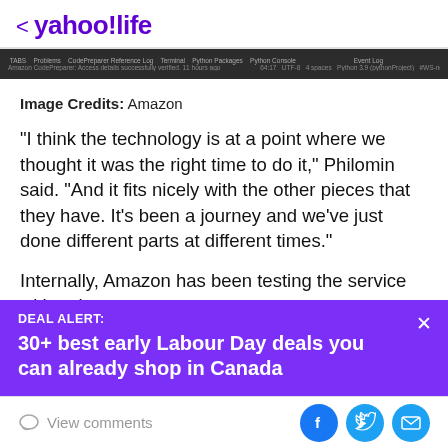< yahoo!life
[Figure (screenshot): Browser developer tools tab bar screenshot in dark theme]
Image Credits: Amazon
"I think the technology is at a point where we thought it was the right time to do it," Philomin said. "And it fits nicely with the other pieces that they have. It's been a journey and we've just done different parts at different times."
Internally, Amazon has been testing the service with only
[Figure (infographic): Purple deal alert banner: DEAL ALERT: 30+ best early Labour Day deals you can already shop in Canada]
View comments